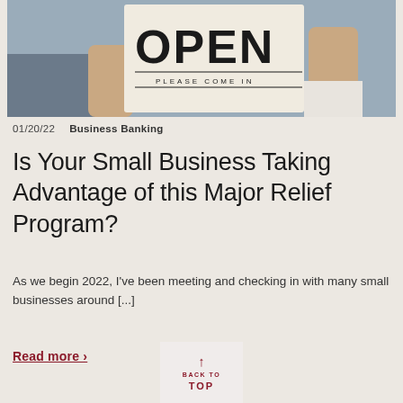[Figure (photo): A person holding an OPEN sign with 'Please Come In' text, partial view of hands and sign against blurred background]
01/20/22    Business Banking
Is Your Small Business Taking Advantage of this Major Relief Program?
As we begin 2022, I've been meeting and checking in with many small businesses around [...]
Read more ›
↑ BACK TO TOP